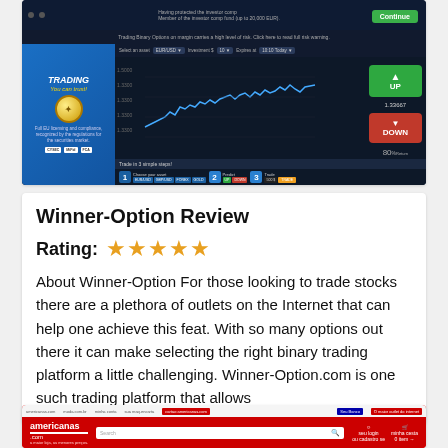[Figure (screenshot): Trading platform screenshot showing binary options trading interface with UP/DOWN buttons, price chart, and 'Trading You can trust!' branding]
Winner-Option Review
Rating: ★★★★½
About Winner-Option For those looking to trade stocks there are a plethora of outlets on the Internet that can help one achieve this feat. With so many options out there it can make selecting the right binary trading platform a little challenging. Winner-Option.com is one such trading platform that allows
[Figure (screenshot): Americanas.com website screenshot showing the red e-commerce homepage]